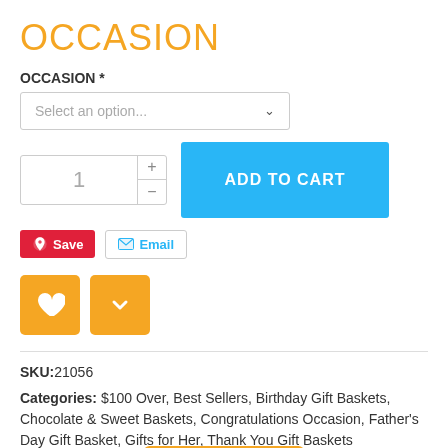OCCASION
OCCASION *
Select an option... (dropdown)
Quantity: 1, ADD TO CART button
Save | Email
[Figure (infographic): Two orange square buttons: heart/wishlist icon and a dropdown/checkmark icon]
SKU:21056
Categories: $100 Over, Best Sellers, Birthday Gift Baskets, Chocolate & Sweet Baskets, Congratulations Occasion, Father's Day Gift Basket, Gifts for Her, Thank You Gift Baskets
Tags: 21056, 5 Star, [Live Chat overlay] r Chocolate Gift Basket, Better than B[...] ar, chocolate gift
Live Chat